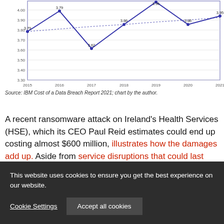[Figure (line-chart): Cost of a Data Breach (USD millions)]
Source: IBM Cost of a Data Breach Report 2021; chart by the author.
A recent ransomware attack on Ireland's Health Services (HSE), which its CEO Paul Reid estimates could end up costing almost $600 million, illustrates how the damages add up. Aside from service disruptions that could last months, HSE paid:
This website uses cookies to ensure you get the best experience on our website.
Cookie Settings   Accept all cookies